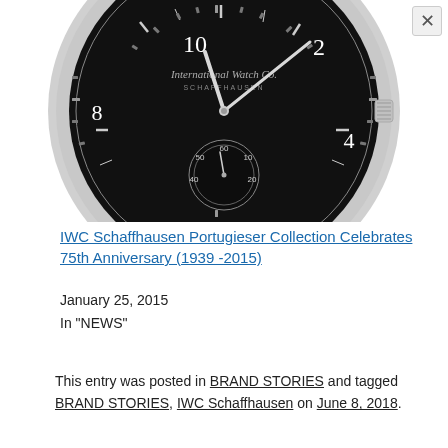[Figure (photo): Close-up of an IWC Schaffhausen Portugieser watch face showing black dial with silver Roman numerals, subsidiary seconds dial, and crown on right side]
IWC Schaffhausen Portugieser Collection Celebrates 75th Anniversary (1939 -2015)
January 25, 2015
In "NEWS"
This entry was posted in BRAND STORIES and tagged BRAND STORIES, IWC Schaffhausen on June 8, 2018.